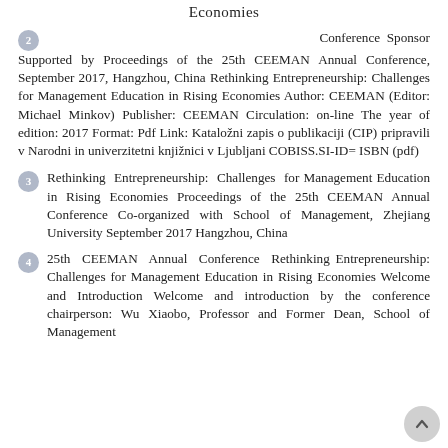Economies
2  Conference Sponsor Supported by Proceedings of the 25th CEEMAN Annual Conference, September 2017, Hangzhou, China Rethinking Entrepreneurship: Challenges for Management Education in Rising Economies Author: CEEMAN (Editor: Michael Minkov) Publisher: CEEMAN Circulation: on-line The year of edition: 2017 Format: Pdf Link: Kataložni zapis o publikaciji (CIP) pripravili v Narodni in univerzitetni knjižnici v Ljubljani COBISS.SI-ID= ISBN (pdf)
3  Rethinking Entrepreneurship: Challenges for Management Education in Rising Economies Proceedings of the 25th CEEMAN Annual Conference Co-organized with School of Management, Zhejiang University September 2017 Hangzhou, China
4  25th CEEMAN Annual Conference Rethinking Entrepreneurship: Challenges for Management Education in Rising Economies Welcome and Introduction Welcome and introduction by the conference chairperson: Wu Xiaobo, Professor and Former Dean, School of Management